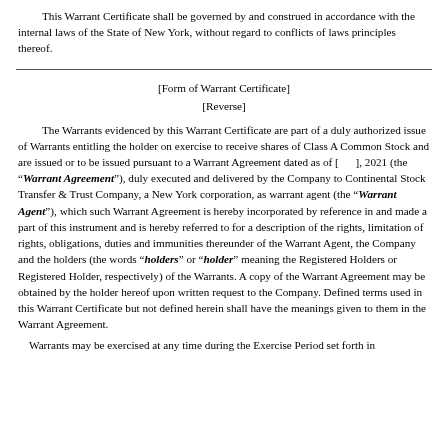This Warrant Certificate shall be governed by and construed in accordance with the internal laws of the State of New York, without regard to conflicts of laws principles thereof.
[Form of Warrant Certificate]
[Reverse]
The Warrants evidenced by this Warrant Certificate are part of a duly authorized issue of Warrants entitling the holder on exercise to receive shares of Class A Common Stock and are issued or to be issued pursuant to a Warrant Agreement dated as of [     ], 2021 (the “Warrant Agreement”), duly executed and delivered by the Company to Continental Stock Transfer & Trust Company, a New York corporation, as warrant agent (the “Warrant Agent”), which such Warrant Agreement is hereby incorporated by reference in and made a part of this instrument and is hereby referred to for a description of the rights, limitation of rights, obligations, duties and immunities thereunder of the Warrant Agent, the Company and the holders (the words “holders” or “holder” meaning the Registered Holders or Registered Holder, respectively) of the Warrants. A copy of the Warrant Agreement may be obtained by the holder hereof upon written request to the Company. Defined terms used in this Warrant Certificate but not defined herein shall have the meanings given to them in the Warrant Agreement.
Warrants may be exercised at any time during the Exercise Period set forth in